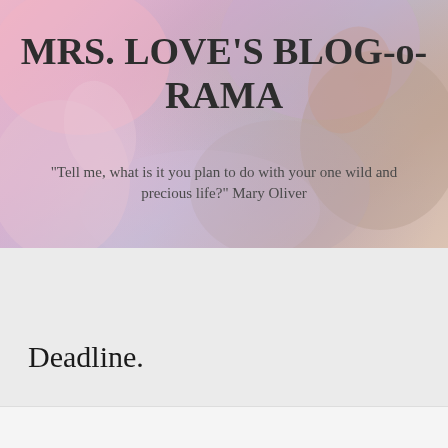[Figure (illustration): Soft pastel floral/abstract background image in pink, purple, blue, and tan tones forming the header banner]
MRS. LOVE'S BLOG-o-RAMA
"Tell me, what is it you plan to do with your one wild and precious life?" Mary Oliver
Deadline.
Follow ...